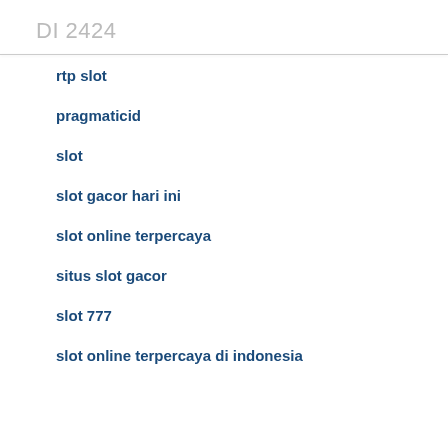DI 2424
rtp slot
pragmaticid
slot
slot gacor hari ini
slot online terpercaya
situs slot gacor
slot 777
slot online terpercaya di indonesia